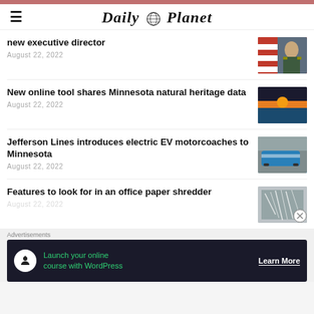Daily Planet
new executive director
August 22, 2022
[Figure (photo): Military officer in uniform with American flag in background]
New online tool shares Minnesota natural heritage data
August 22, 2022
[Figure (photo): Sunset over a lake with orange sky]
Jefferson Lines introduces electric EV motorcoaches to Minnesota
August 22, 2022
[Figure (photo): Blue bus parked in a lot]
Features to look for in an office paper shredder
August 22, 2022
[Figure (photo): Shredded paper close-up]
Advertisements
Launch your online course with WordPress  Learn More